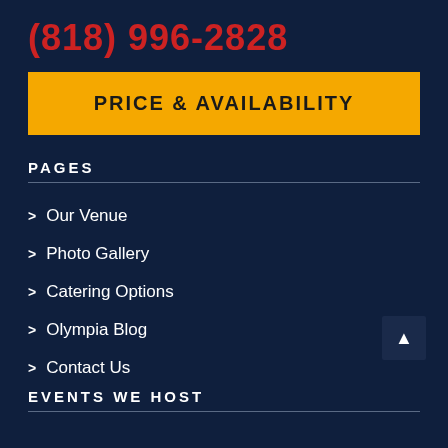(818) 996-2828
PRICE & AVAILABILITY
PAGES
> Our Venue
> Photo Gallery
> Catering Options
> Olympia Blog
> Contact Us
EVENTS WE HOST